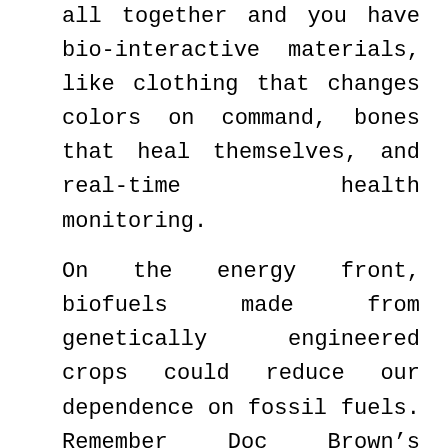all together and you have bio-interactive materials, like clothing that changes colors on command, bones that heal themselves, and real-time health monitoring.

On the energy front, biofuels made from genetically engineered crops could reduce our dependence on fossil fuels. Remember Doc Brown's souped-up DeLorean in Back to the Future II? Chances are vehicles of the future will no longer guzzle polluting fossil fuels, but use a combination of fuel cells and organic